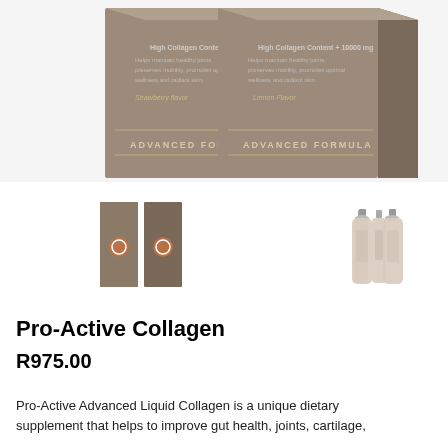[Figure (photo): Two product boxes of Pro-Active Collagen Advanced Formula side by side. Left box shows Strawberry Flavor, right box shows Lemon Flavor. Both are dark brown/taupe colored boxes with gold text reading 'ADVANCED FORMULA'.]
[Figure (photo): Four thumbnail product images in a row: two small dark boxes (Pro-Active Collagen boxes) on the left, and two small clear/light-colored bottles on the right.]
Pro-Active Collagen
R975.00
Pro-Active Advanced Liquid Collagen is a unique dietary supplement that helps to improve gut health, joints, cartilage, bones, muscles and skin. It also supports optimal wellness and radiant skin.